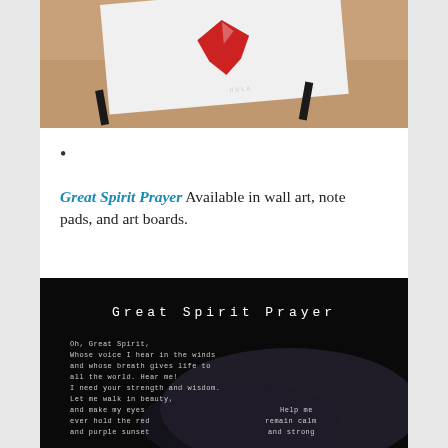[Figure (photo): Product photo of an art board or note pad with a red heart design on a wooden surface, partially showing black pen/marker beside it.]
•
Great Spirit Prayer Available in wall art, note pads, and art boards.
[Figure (photo): Dark background image showing the Great Spirit Prayer poem in white monospace text. Title reads 'Great Spirit Prayer'. Text begins: 'Oh, Great Spirit, Whose voice I hear in the winds and whose breath gives life to all the world. Hear me! I need your strength and wisdom. Let me walk in beauty, and make my eyes ever hold the red and purple sunset' with additional text on the right: 'Help me remain calm and strong']